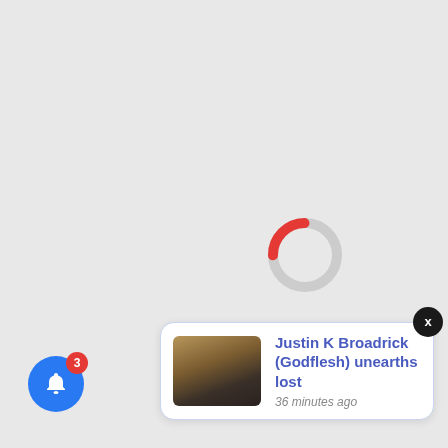[Figure (other): Loading spinner: a circular ring mostly light gray with a red arc segment at the bottom-right, indicating a loading/progress state]
[Figure (infographic): Notification card with thumbnail image (dark moody photo), title 'Justin K Broadrick (Godflesh) unearths lost', timestamp '36 minutes ago', close button X, and a blue bell button with red badge showing 3 notifications]